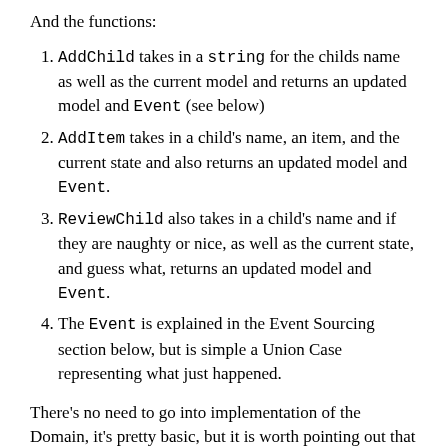And the functions:
AddChild takes in a string for the childs name as well as the current model and returns an updated model and Event (see below)
AddItem takes in a child's name, an item, and the current state and also returns an updated model and Event.
ReviewChild also takes in a child's name and if they are naughty or nice, as well as the current state, and guess what, returns an updated model and Event.
The Event is explained in the Event Sourcing section below, but is simple a Union Case representing what just happened.
There's no need to go into implementation of the Domain, it's pretty basic, but it is worth pointing out that